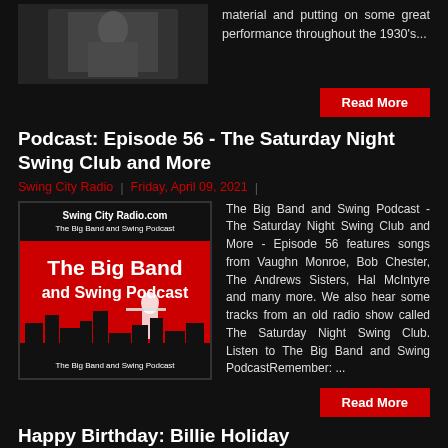[Figure (photo): Black and white photo (partially visible at top)]
material and putting on some great performance throughout the 1930's...
Read More
Podcast: Episode 56 - The Saturday Night Swing Club and More
Swing City Radio | Friday, April 09, 2021 |
[Figure (illustration): Swing City Radio.com - The Big Band and Swing Podcast logo with trombone player silhouette against city skyline on red background]
The Big Band and Swing Podcast - The Saturday Night Swing Club and More - Episode 56 features songs from Vaughn Monroe, Bob Chester, The Andrews Sisters, Hal McIntyre and many more. We also hear some tracks from an old radio show called The Saturday Night Swing Club. Listen to The Big Band and Swing PodcastRemember: ...
Read More
Happy Birthday: Billie Holiday